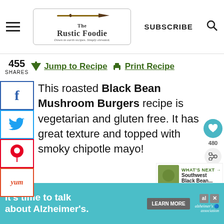[Figure (logo): The Rustic Foodie logo with knife graphic and tagline 'Down to earth recipes. Simply elevated.' with hamburger menu, SUBSCRIBE text, and search icon]
455 SHARES ↓ Jump to Recipe 🖨 Print Recipe
This roasted Black Bean Mushroom Burgers recipe is vegetarian and gluten free. It has great texture and topped with smoky chipotle mayo!
Black beans are a classic ingredient in
[Figure (screenshot): Ad banner: It's time to talk about Alzheimer's. LEARN MORE. alzheimer's association logo.]